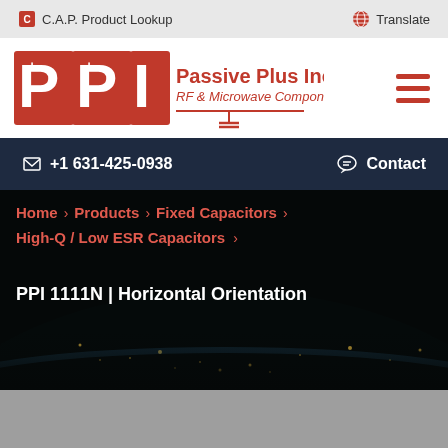C.A.P. Product Lookup   Translate
[Figure (logo): PPI Passive Plus Inc. logo — red block letters 'PPI' with RF & Microwave Components tagline]
+1 631-425-0938   Contact
Home > Products > Fixed Capacitors > High-Q / Low ESR Capacitors >
PPI 1111N | Horizontal Orientation
[Figure (photo): Dark aerial/space photo of Earth's surface at night with city lights visible along curved horizon]